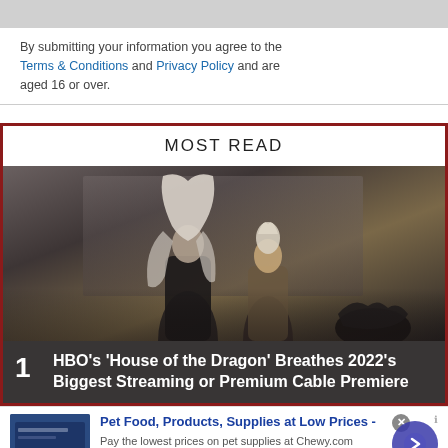[Figure (other): Gray submit/continue button bar at top of page]
By submitting your information you agree to the Terms & Conditions and Privacy Policy and are aged 16 or over.
MOST READ
[Figure (photo): Two figures with white/silver hair facing each other in a dramatic scene from HBO's House of the Dragon, dark moody cinematic lighting]
1  HBO's 'House of the Dragon' Breathes 2022's Biggest Streaming or Premium Cable Premiere
[Figure (other): Advertisement: Pet Food, Products, Supplies at Low Prices - chewy.com, with navigation arrow button]